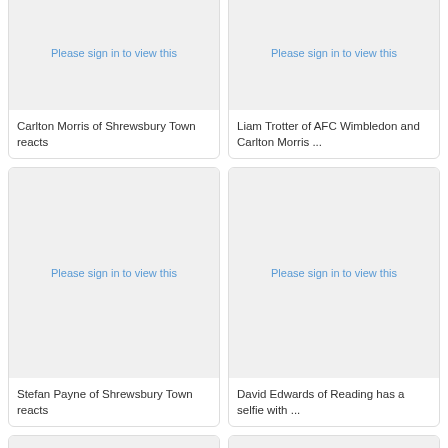[Figure (photo): Partially visible image card with 'Please sign in to view this' text — Carlton Morris of Shrewsbury Town reacts]
Carlton Morris of Shrewsbury Town reacts
[Figure (photo): Partially visible image card with 'Please sign in to view this' text — Liam Trotter of AFC Wimbledon and Carlton Morris ...]
Liam Trotter of AFC Wimbledon and Carlton Morris ...
[Figure (photo): Image card with 'Please sign in to view this' text — Stefan Payne of Shrewsbury Town reacts]
Stefan Payne of Shrewsbury Town reacts
[Figure (photo): Image card with 'Please sign in to view this' text — David Edwards of Reading has a selfie with ...]
David Edwards of Reading has a selfie with ...
[Figure (photo): Partially visible image card at bottom left]
[Figure (photo): Partially visible image card at bottom right]